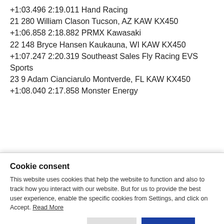+1:03.496 2:19.011 Hand Racing
21 280 William Clason Tucson, AZ KAW KX450 +1:06.858 2:18.882 PRMX Kawasaki
22 148 Bryce Hansen Kaukauna, WI KAW KX450 +1:07.247 2:20.319 Southeast Sales Fly Racing EVS Sports
23 9 Adam Cianciarulo Montverde, FL KAW KX450 +1:08.040 2:17.858 Monster Energy
Cookie consent
This website uses cookies that help the website to function and also to track how you interact with our website. But for us to provide the best user experience, enable the specific cookies from Settings, and click on Accept. Read More